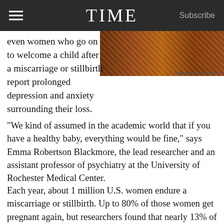TIME  Subscribe
[Figure (photo): Close-up photograph of a wooden surface or bark with warm brown tones, credited to Images.com/Corbis]
Images.com/Corbis
even women who go on to welcome a child after a miscarriage or stillbirth report prolonged depression and anxiety surrounding their loss.
“We kind of assumed in the academic world that if you have a healthy baby, everything would be fine,” says Emma Robertson Blackmore, the lead researcher and an assistant professor of psychiatry at the University of Rochester Medical Center.
Each year, about 1 million U.S. women endure a miscarriage or stillbirth. Up to 80% of those women get pregnant again, but researchers found that nearly 13% of women who had a miscarriage or stillbirth before delivering a healthy baby still had symptoms of depression 33 months after the birth. Of those with two previous losses, almost 19% of new mothers had symptoms of depression within that same time span, according to the study published